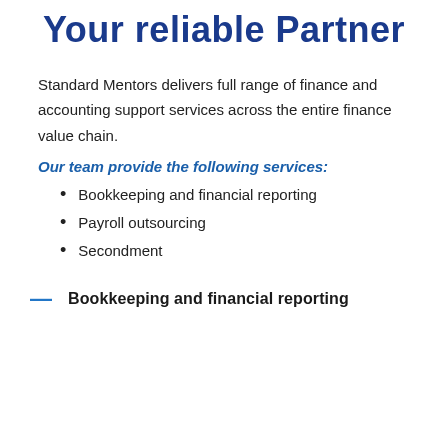Your reliable Partner
Standard Mentors delivers full range of finance and accounting support services across the entire finance value chain.
Our team provide the following services:
Bookkeeping and financial reporting
Payroll outsourcing
Secondment
— Bookkeeping and financial reporting